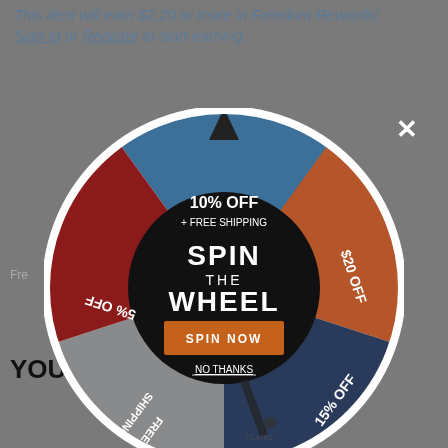This item will earn $2.20 or more in Freedom Rewards! Sign In or Register to start earning.
[Figure (infographic): Spin the wheel promotional popup overlay with a circular prize wheel divided into segments: 10% OFF + FREE SHIPPING (top, blue), $20 OFF (right, orange-brown), 15% OFF (bottom-right, dark blue), FREE SHIPPING (bottom-left, gray), 5% OFF (left, red). Center black circle contains SPIN THE WHEEL text, SPIN NOW button, and NO THANKS link. A close X is at top-right.]